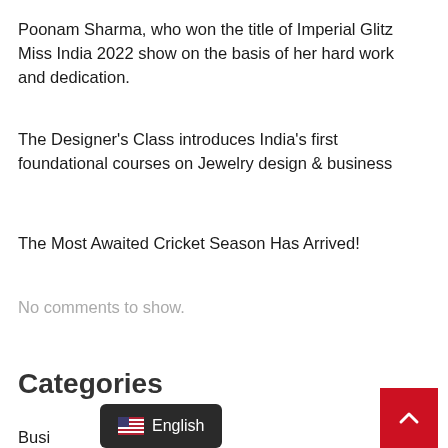Poonam Sharma, who won the title of Imperial Glitz Miss India 2022 show on the basis of her hard work and dedication.
The Designer's Class introduces India's first foundational courses on Jewelry design & business
The Most Awaited Cricket Season Has Arrived!
No comments to show.
Categories
Busi
[Figure (other): English language selector badge with US flag icon, dark background, rounded corners]
[Figure (other): Red back-to-top button with upward chevron arrow, bottom right corner]